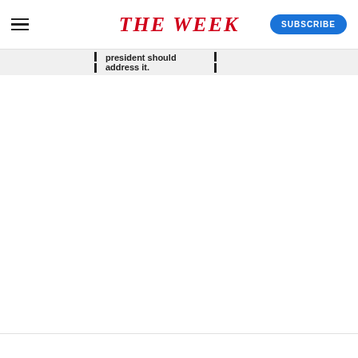THE WEEK — SUBSCRIBE
president should address it.